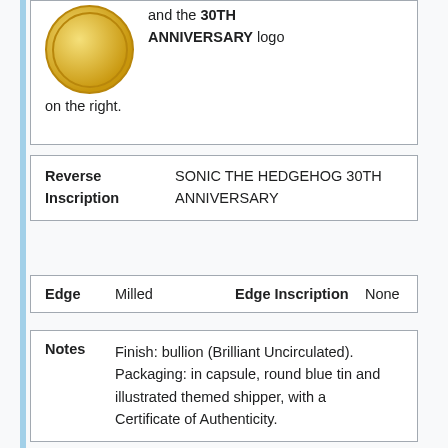and the 30TH ANNIVERSARY logo on the right.
| Reverse Inscription | SONIC THE HEDGEHOG 30TH ANNIVERSARY |
| --- | --- |
| Edge | Edge Inscription |
| --- | --- |
| Milled | None |
| Notes |  |
| --- | --- |
|  | Finish: bullion (Brilliant Uncirculated). Packaging: in capsule, round blue tin and illustrated themed shipper, with a Certificate of Authenticity. |
| See also |  |
| --- | --- |
|  | Coins issued for Niue, as well as non-legal tender coins and/or for Sonic the |